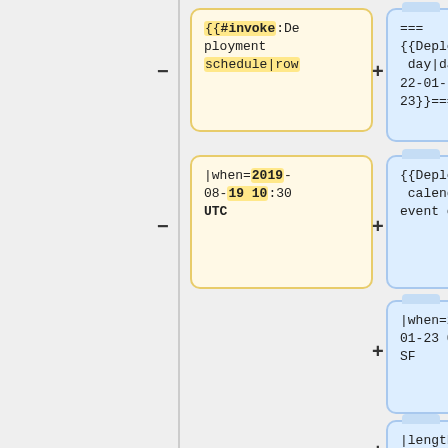[Figure (screenshot): Yellow code box showing template invocation: {{#invoke:Deployment schedule|row}} with highlighted portions]
[Figure (screenshot): Blue code box showing: === {{Deployment_day|date=2022-01-23}}===]
[Figure (screenshot): Yellow code box showing: |when=2019-08-19 10:30 UTC with highlighted date/time portions]
[Figure (screenshot): Blue code box showing: {{Deployment calendar event card]
[Figure (screenshot): Blue code box showing: |when=2022-01-23 00:00 SF]
[Figure (screenshot): Blue code box showing: |length=24]
[Figure (screenshot): Blue code box showing: |window=No deploys all day. See...]